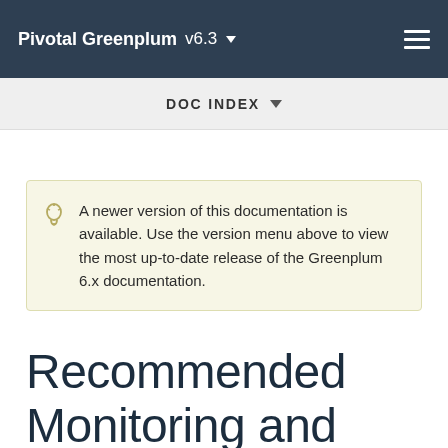Pivotal Greenplum  v6.3
DOC INDEX
A newer version of this documentation is available. Use the version menu above to view the most up-to-date release of the Greenplum 6.x documentation.
Recommended Monitoring and